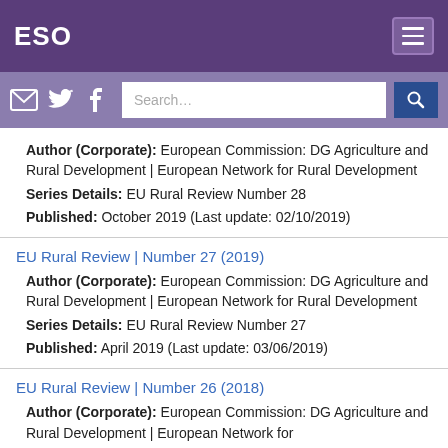ESO
Author (Corporate): European Commission: DG Agriculture and Rural Development | European Network for Rural Development
Series Details: EU Rural Review Number 28
Published: October 2019 (Last update: 02/10/2019)
EU Rural Review | Number 27 (2019)
Author (Corporate): European Commission: DG Agriculture and Rural Development | European Network for Rural Development
Series Details: EU Rural Review Number 27
Published: April 2019 (Last update: 03/06/2019)
EU Rural Review | Number 26 (2018)
Author (Corporate): European Commission: DG Agriculture and Rural Development | European Network for Rural Development